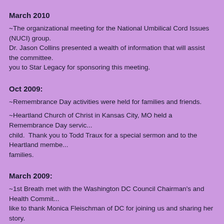March 2010
~The organizational meeting for the National Umbilical Cord Issues (NUCI) group. Dr. Jason Collins presented a wealth of information that will assist the committee. Thank you to Star Legacy for sponsoring this meeting.
Oct 2009:
~Remembrance Day activities were held for families and friends.
~Heartland Church of Christ in Kansas City, MO held a Remembrance Day service for every child. Thank you to Todd Traux for a special sermon and to the Heartland members for the families.
March 2009:
~1st Breath met with the Washington DC Council Chairman's and Health Committee. We would like to thank Monica Fleischman of DC for joining us and sharing her story. If you are a parent of a baby who was stillborn in DC please contact us to see how to have your birth acknowledged.
~1st Breath sponsored a volunteer and a nurse to participate in the Peer Grief Support on March 23 at Embassy Suites at the Pavillion in Washington DC. Training was faci...